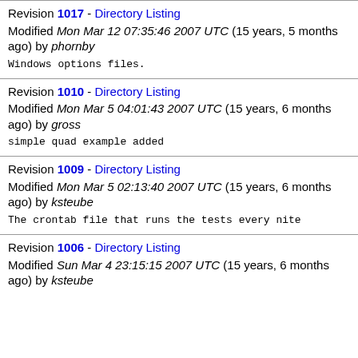Revision 1017 - Directory Listing
Modified Mon Mar 12 07:35:46 2007 UTC (15 years, 5 months ago) by phornby

Windows options files.
Revision 1010 - Directory Listing
Modified Mon Mar 5 04:01:43 2007 UTC (15 years, 6 months ago) by gross

simple quad example added
Revision 1009 - Directory Listing
Modified Mon Mar 5 02:13:40 2007 UTC (15 years, 6 months ago) by ksteube

The crontab file that runs the tests every nite
Revision 1006 - Directory Listing
Modified Sun Mar 4 23:15:15 2007 UTC (15 years, 6 months ago) by ksteube